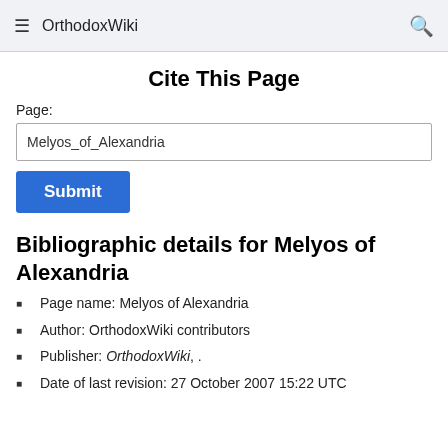OrthodoxWiki
Cite This Page
Page:
Melyos_of_Alexandria
Submit
Bibliographic details for Melyos of Alexandria
Page name: Melyos of Alexandria
Author: OrthodoxWiki contributors
Publisher: OrthodoxWiki, .
Date of last revision: 27 October 2007 15:22 UTC